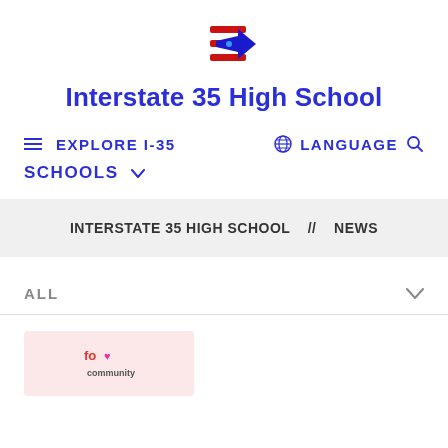[Figure (logo): Interstate 35 High School logo — stylized rocket/arrow with red and blue colors]
Interstate 35 High School
≡  EXPLORE I-35     🌐 LANGUAGE  🔍
SCHOOLS  ∨
INTERSTATE 35 HIGH SCHOOL   //   NEWS
ALL
[Figure (logo): Community logo with colorful text reading 'community' on a pink background]